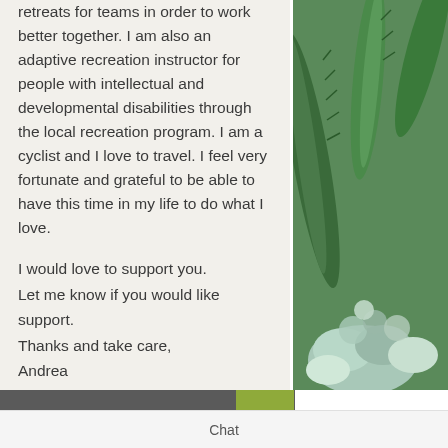retreats for teams in order to work better together. I am also an adaptive recreation instructor for people with intellectual and developmental disabilities through the local recreation program. I am a cyclist and I love to travel. I feel very fortunate and grateful to be able to have this time in my life to do what I love.
I would love to support you.
Let me know if you would like support.
Thanks and take care,
Andrea
muzikantcoaching@gmail.com
503.740.8684
Chat
[Figure (photo): Close-up photo of succulents and cactus plants with green and blue-green tones]